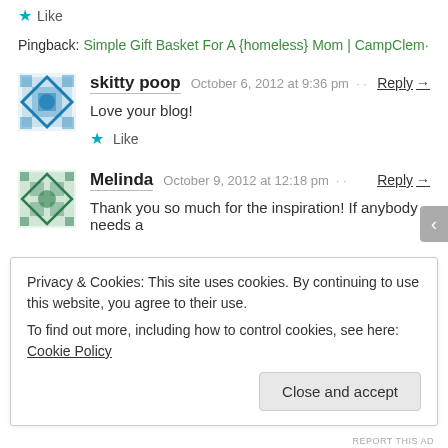★ Like
Pingback: Simple Gift Basket For A {homeless} Mom | CampClem·
skitty poop  October 6, 2012 at 9:36 pm · · Reply →
Love your blog!
★ Like
Melinda  October 9, 2012 at 12:18 pm · · Reply →
Thank you so much for the inspiration! If anybody needs a
Privacy & Cookies: This site uses cookies. By continuing to use this website, you agree to their use.
To find out more, including how to control cookies, see here: Cookie Policy
Close and accept